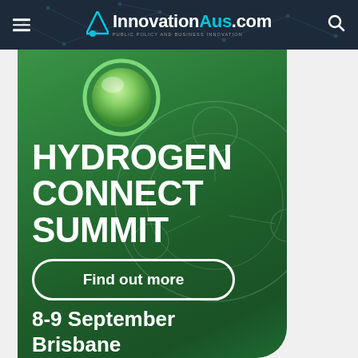InnovationAus.com — PUBLIC POLICY AND BUSINESS INNOVATION
[Figure (infographic): Hydrogen Connect Summit promotional banner on green gradient background with molecule icon, bold title text HYDROGEN CONNECT SUMMIT, Find out more button, and date/location 8-9 September Brisbane]